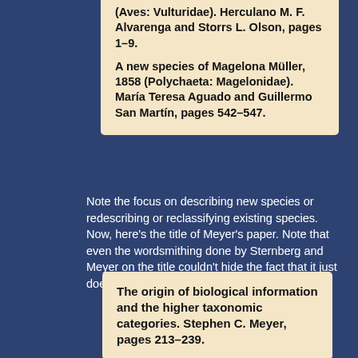(Aves: Vulturidae). Herculano M. F. Alvarenga and Storrs L. Olson, pages 1–9.

A new species of Magelona Müller, 1858 (Polychaeta: Magelonidae). María Teresa Aguado and Guillermo San Martín, pages 542–547.
Note the focus on describing new species or redescribing or reclassifying existing species. Now, here's the title of Meyer's paper. Note that even the wordsmithing done by Sternberg and Meyer on the title couldn't hide the fact that it just doesn't fit, not even close:
The origin of biological information and the higher taxonomic categories. Stephen C. Meyer, pages 213–239.